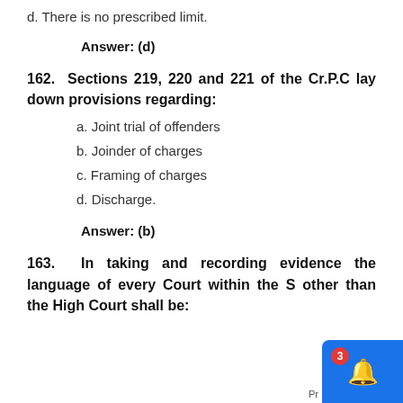d. There is no prescribed limit.
Answer: (d)
162. Sections 219, 220 and 221 of the Cr.P.C lay down provisions regarding:
a. Joint trial of offenders
b. Joinder of charges
c. Framing of charges
d. Discharge.
Answer: (b)
163. In taking and recording evidence the language of every Court within the S other than the High Court shall be: